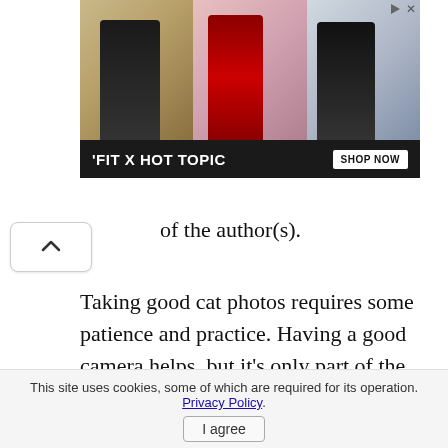[Figure (photo): Advertisement banner for 'FIT X HOT TOPIC' showing three young people in fashion clothing with a 'SHOP NOW' button on a dark background. A play/close button is in the top right corner.]
of the author(s).
Taking good cat photos requires some patience and practice. Having a good camera helps, but it's only part of the story. Eliminate the trial and error by following published cat photographer Troy Snow's tutorial
This site uses cookies, some of which are required for its operation. Privacy Policy. I agree